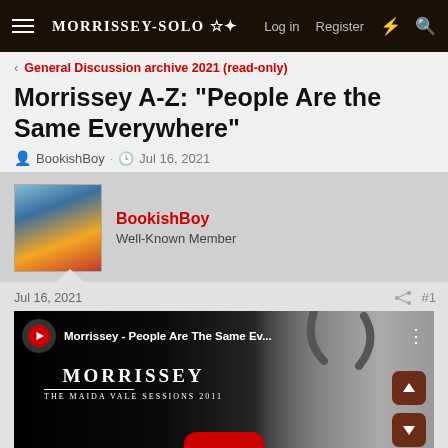MORRISSEY-SOLO | Log in | Register
General Discussion archive 2021 (read-only)
Morrissey A-Z: "People Are the Same Everywhere"
BookishBoy · Jul 16, 2021
BookishBoy
Well-Known Member
Jul 16, 2021  #1
[Figure (screenshot): YouTube video embed showing Morrissey - People Are The Same Ev... with the title MORRISSEY THE MAIDA VALE SESSIONS 2011, a red YouTube play button, and scroll up/down buttons on the right side.]